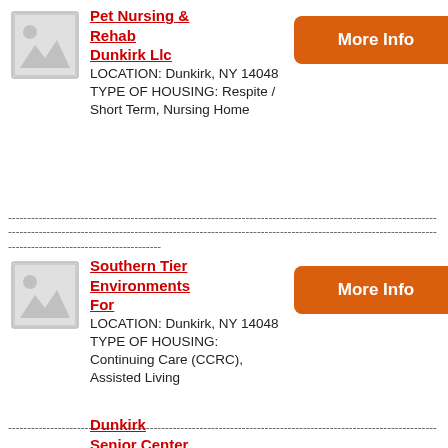[Figure (illustration): Placeholder image thumbnail for first listing]
Pet Nursing & Rehab Dunkirk Llc
LOCATION: Dunkirk, NY 14048
TYPE OF HOUSING: Respite / Short Term, Nursing Home
More Info
------------------------------------------------------------------------------------------------------------------------------------------------------------------------------------------------------------------------------------------------------------------------
[Figure (illustration): Placeholder image thumbnail for second listing]
Southern Tier Environments For
LOCATION: Dunkirk, NY 14048
TYPE OF HOUSING: Continuing Care (CCRC), Assisted Living
More Info
------------------------------------------------------------------------------------------------------------------------------------------------------------------------------------------------------------------------------------------------------------------------
Dunkirk Senior Center